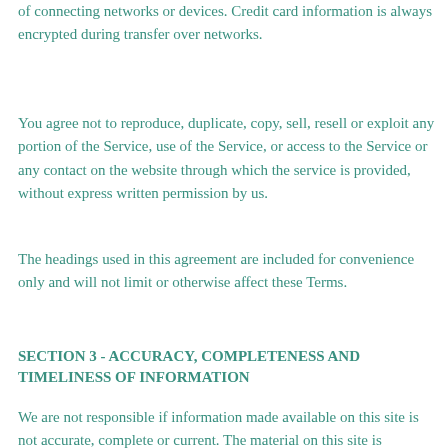of connecting networks or devices. Credit card information is always encrypted during transfer over networks.
You agree not to reproduce, duplicate, copy, sell, resell or exploit any portion of the Service, use of the Service, or access to the Service or any contact on the website through which the service is provided, without express written permission by us.
The headings used in this agreement are included for convenience only and will not limit or otherwise affect these Terms.
SECTION 3 - ACCURACY, COMPLETENESS AND TIMELINESS OF INFORMATION
We are not responsible if information made available on this site is not accurate, complete or current. The material on this site is provided for general information only and